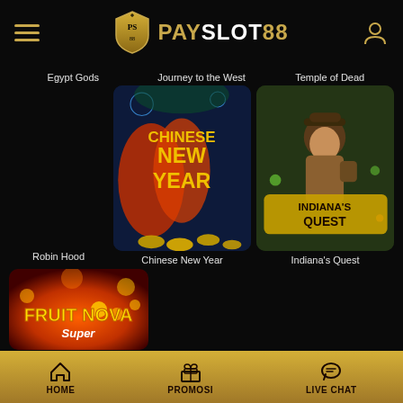[Figure (screenshot): PAYSLOT88 mobile casino app screenshot showing game lobby with Chinese New Year, Indiana's Quest, Fruit Nova Super slot games and navigation bar]
PAYSLOT88
Egypt Gods
Journey to the West
Temple of Dead
Robin Hood
[Figure (screenshot): Chinese New Year slot game thumbnail]
Chinese New Year
[Figure (screenshot): Indiana's Quest slot game thumbnail]
Indiana's Quest
[Figure (screenshot): Fruit Nova Super slot game thumbnail]
HOME   PROMOSI   LIVE CHAT